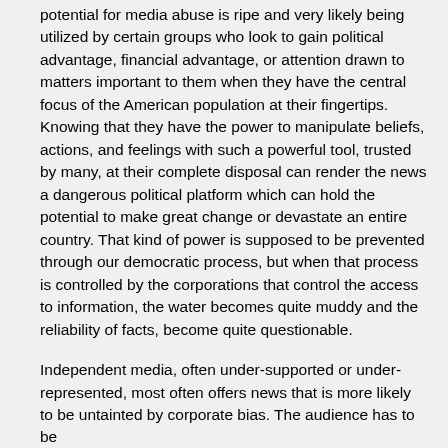potential for media abuse is ripe and very likely being utilized by certain groups who look to gain political advantage, financial advantage, or attention drawn to matters important to them when they have the central focus of the American population at their fingertips. Knowing that they have the power to manipulate beliefs, actions, and feelings with such a powerful tool, trusted by many, at their complete disposal can render the news a dangerous political platform which can hold the potential to make great change or devastate an entire country. That kind of power is supposed to be prevented through our democratic process, but when that process is controlled by the corporations that control the access to information, the water becomes quite muddy and the reliability of facts, become quite questionable.
Independent media, often under-supported or under-represented, most often offers news that is more likely to be untainted by corporate bias. The audience has to be